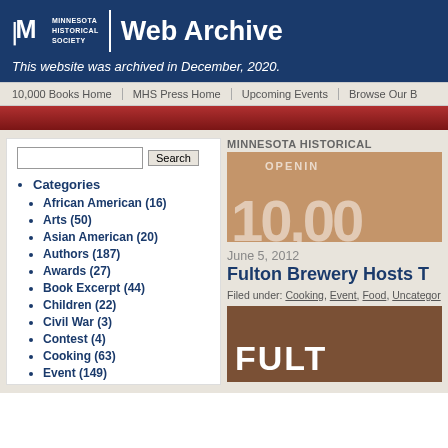Minnesota Historical Society | Web Archive
This website was archived in December, 2020.
10,000 Books Home | MHS Press Home | Upcoming Events | Browse Our B
Categories
African American (16)
Arts (50)
Asian American (20)
Authors (187)
Awards (27)
Book Excerpt (44)
Children (22)
Civil War (3)
Contest (4)
Cooking (63)
Event (149)
[Figure (screenshot): Minnesota Historical Society 10,000 Books banner image with large numbers]
June 5, 2012
Fulton Brewery Hosts T
Filed under: Cooking, Event, Food, Uncategor
[Figure (photo): Fulton Brewery sign on brick wall]